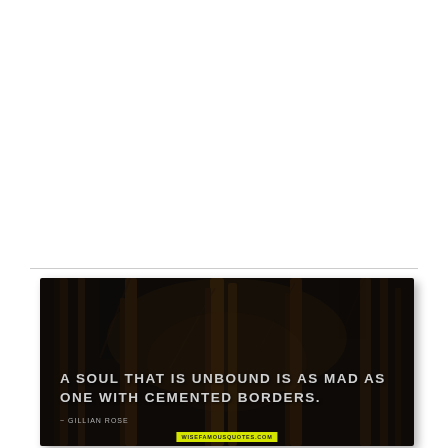[Figure (illustration): Dark moody forest image overlaid with a quote in white uppercase text: 'A SOUL THAT IS UNBOUND IS AS MAD AS ONE WITH CEMENTED BORDERS.' attributed to ~ GILLIAN ROSE, with a yellow wisefamousquotes.com badge at the bottom center.]